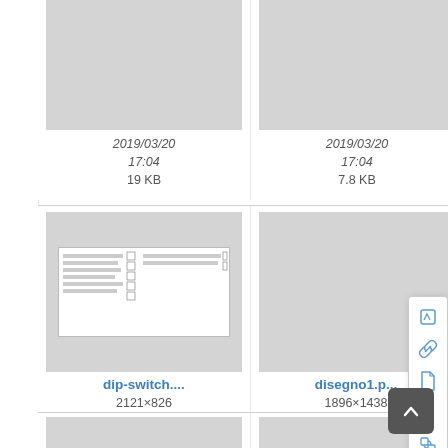[Figure (screenshot): File browser grid showing file thumbnails with metadata. Top row (partial): three items with dates 2019/03/20 17:04 and sizes 19 KB, 7.8 KB, 24.9 (truncated). Middle row: dip-switch... (2121×826, 2019/03/20 17:04, 50.8 KB), disegno1.p... (1896×1438, 2019/03/20 17:04, 155.9 KB), and a third partially visible item with context menu overlay. Bottom row (partial): doorbird.s..., doorbirddt..., and a third partially visible item. Scroll-to-top button at bottom right. Left sidebar visible.]